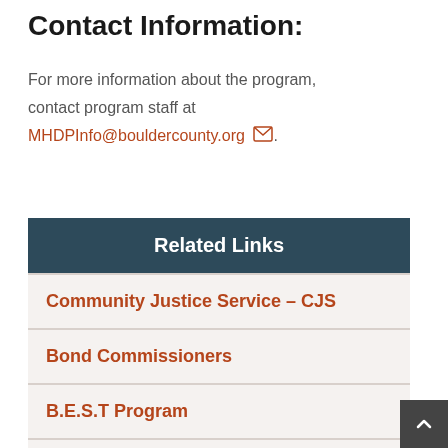Contact Information:
For more information about the program, contact program staff at MHDPInfo@bouldercounty.org .
Related Links
Community Justice Service – CJS
Bond Commissioners
B.E.S.T Program
BHAP Program
COAP Program